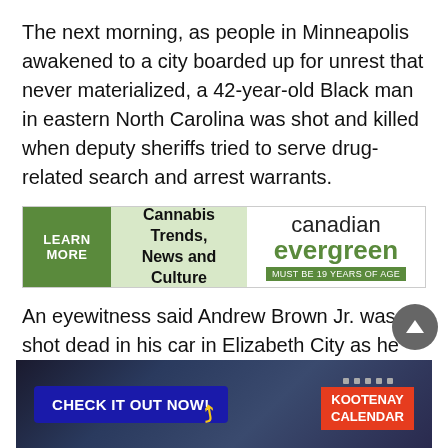The next morning, as people in Minneapolis awakened to a city boarded up for unrest that never materialized, a 42-year-old Black man in eastern North Carolina was shot and killed when deputy sheriffs tried to serve drug-related search and arrest warrants.
[Figure (infographic): Advertisement banner for Canadian Evergreen cannabis website. Green button says LEARN MORE on left, center reads Cannabis Trends, News and Culture, right side shows canadian evergreen logo with MUST BE 19 YEARS OF AGE.]
An eyewitness said Andrew Brown Jr. was shot dead in his car in Elizabeth City as he tried to drive away. A car authorities removed from the scene appeared to have multiple bullet holes and a shattered back window.
[Figure (infographic): Advertisement banner for Kootenay Calendar. Dark background with crowd photo. Blue button says CHECK IT OUT NOW! on left. Right side shows red box with KOOTENAY CALENDAR text and yellow arrow decoration.]